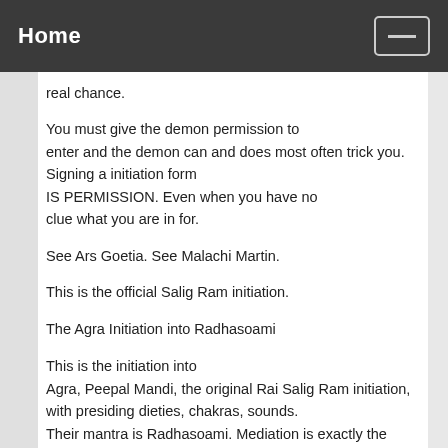Home
real chance.
You must give the demon permission to enter and the demon can and does most often trick you. Signing a initiation form IS PERMISSION. Even when you have no clue what you are in for.
See Ars Goetia. See Malachi Martin.
This is the official Salig Ram initiation.
The Agra Initiation into Radhasoami
This is the initiation into Agra, Peepal Mandi, the original Rai Salig Ram initiation, with presiding dieties, chakras, sounds. Their mantra is Radhasoami. Mediation is exactly the same, no difference.
1.Sahas Dal Kanwel Jot Naranjan
Flame of candle, bell, conch shell, 3/4 inches behind Tirsa Til